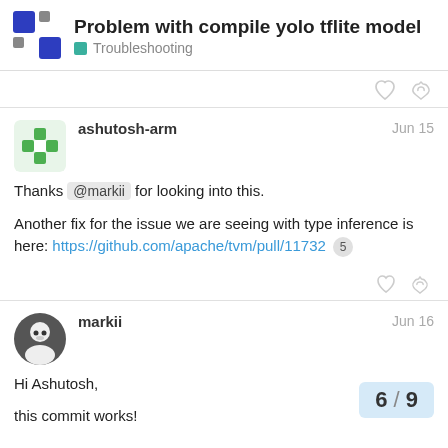Problem with compile yolo tflite model — Troubleshooting
ashutosh-arm  Jun 15
Thanks @markii for looking into this.

Another fix for the issue we are seeing with type inference is here: https://github.com/apache/tvm/pull/11732 5
markii  Jun 16
Hi Ashutosh,

this commit works!
6 / 9